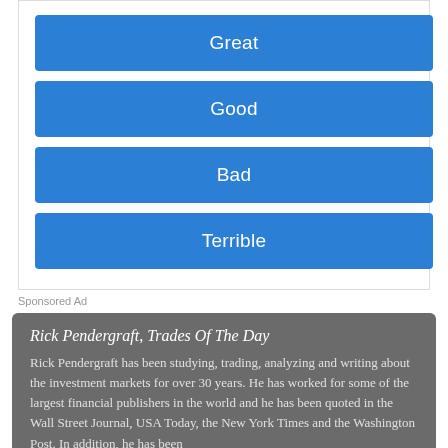Great
Good
Bad
Terrible
Sponsored Ad
Rick Pendergraft, Trades Of The Day
Rick Pendergraft has been studying, trading, analyzing and writing about the investment markets for over 30 years. He has worked for some of the largest financial publishers in the world and he has been quoted in the Wall Street Journal, USA Today, the New York Times and the Washington Post. In addition, he has been